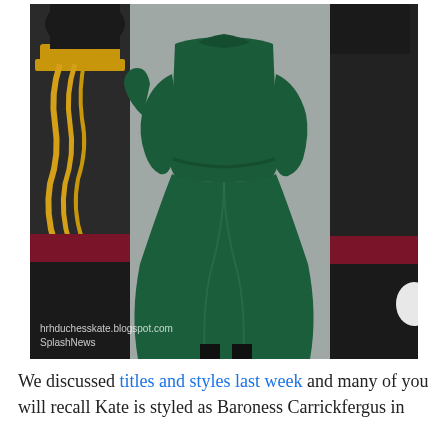[Figure (photo): A woman viewed from behind wearing a dark green fitted coat dress, flanked by soldiers/guards in black uniforms with dark red/maroon belts. The left guard has gold braided epaulettes and sash. A watermark reads 'hrhduchesskate.blogspot.com' and 'SplashNews' at the bottom of the image.]
We discussed titles and styles last week and many of you will recall Kate is styled as Baroness Carrickfergus in